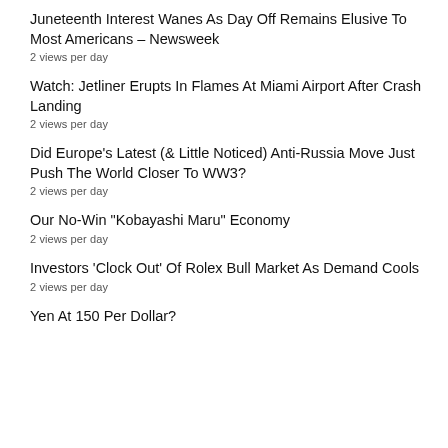Juneteenth Interest Wanes As Day Off Remains Elusive To Most Americans – Newsweek
2 views per day
Watch: Jetliner Erupts In Flames At Miami Airport After Crash Landing
2 views per day
Did Europe's Latest (& Little Noticed) Anti-Russia Move Just Push The World Closer To WW3?
2 views per day
Our No-Win "Kobayashi Maru" Economy
2 views per day
Investors 'Clock Out' Of Rolex Bull Market As Demand Cools
2 views per day
Yen At 150 Per Dollar?